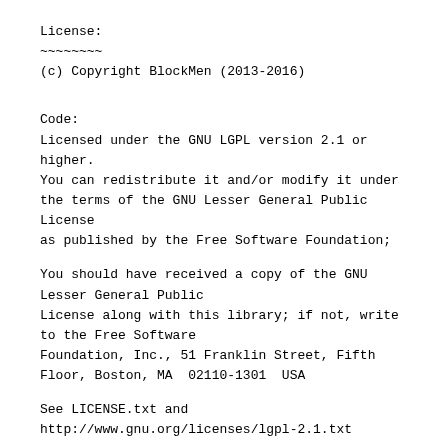License:
~~~~~~~~
(c) Copyright BlockMen (2013-2016)
Code:
Licensed under the GNU LGPL version 2.1 or higher.
You can redistribute it and/or modify it under the terms of the GNU Lesser General Public License
as published by the Free Software Foundation;
You should have received a copy of the GNU Lesser General Public
License along with this library; if not, write to the Free Software
Foundation, Inc., 51 Franklin Street, Fifth Floor, Boston, MA  02110-1301  USA
See LICENSE.txt and
http://www.gnu.org/licenses/lgpl-2.1.txt